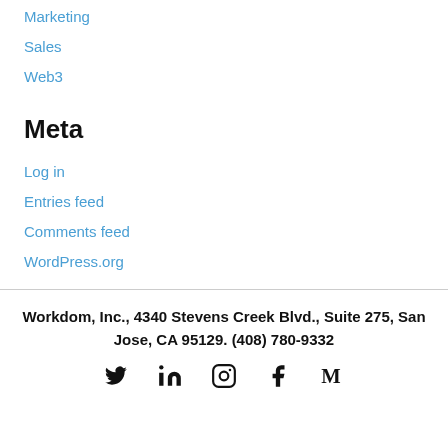Marketing
Sales
Web3
Meta
Log in
Entries feed
Comments feed
WordPress.org
Workdom, Inc., 4340 Stevens Creek Blvd., Suite 275, San Jose, CA 95129. (408) 780-9332